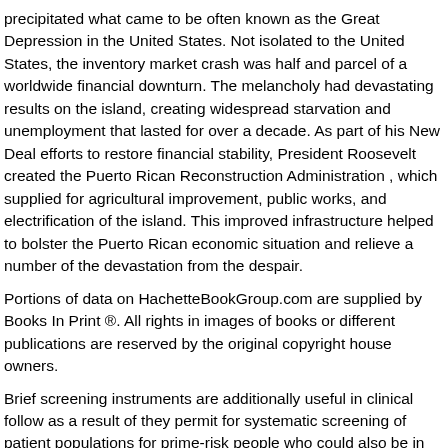precipitated what came to be often known as the Great Depression in the United States. Not isolated to the United States, the inventory market crash was half and parcel of a worldwide financial downturn. The melancholy had devastating results on the island, creating widespread starvation and unemployment that lasted for over a decade. As part of his New Deal efforts to restore financial stability, President Roosevelt created the Puerto Rican Reconstruction Administration , which supplied for agricultural improvement, public works, and electrification of the island. This improved infrastructure helped to bolster the Puerto Rican economic situation and relieve a number of the devastation from the despair.
Portions of data on HachetteBookGroup.com are supplied by Books In Print ®. All rights in images of books or different publications are reserved by the original copyright house owners.
Brief screening instruments are additionally useful in clinical follow as a result of they permit for systematic screening of patient populations for prime-risk people who could also be in need of scientific intervention. Briefly, women have been recruited in early pregnancy at prenatal care visits , informed of